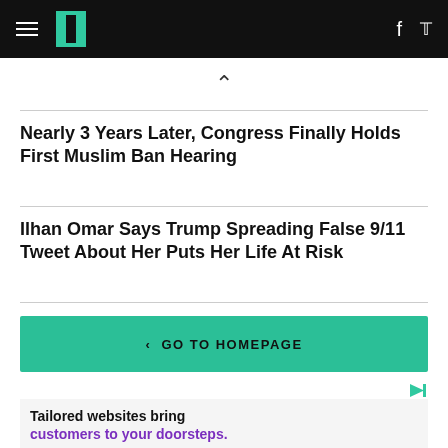HuffPost header with hamburger menu, logo, Facebook and Twitter icons
Nearly 3 Years Later, Congress Finally Holds First Muslim Ban Hearing
Ilhan Omar Says Trump Spreading False 9/11 Tweet About Her Puts Her Life At Risk
< GO TO HOMEPAGE
[Figure (other): Advertisement banner: Tailored websites bring customers to your doorsteps. TAKE [logo graphic]]